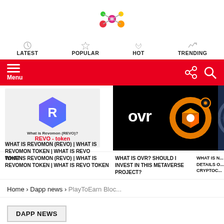[Figure (logo): Colorful network/blockchain logo icon with connected nodes in pink, green, yellow, red colors]
LATEST | POPULAR | HOT | TRENDING
[Figure (infographic): Red navigation bar with hamburger menu (Menu label) on left and share/search icons on right]
[Figure (screenshot): Article card: Revomon (REVO) token logo - blue hexagon with R - with text 'What is Revomon (REVO)?' and 'REVO - token']
WHAT IS REVOMON (REVO) | WHAT IS REVOMON TOKEN | WHAT IS REVO TOKEN
[Figure (screenshot): Article card: OVR metaverse project logo - orange circular ring with 3D cube, OVR text on black background]
WHAT IS OVR? SHOULD I INVEST IN THIS METAVERSE PROJECT?
[Figure (photo): Partial article card on right edge with blue/teal circular mechanical image]
WHAT IS N... DETAILS O... CRYPTOC...
Home › Dapp news › PlayToEarn Bloc...
DAPP NEWS